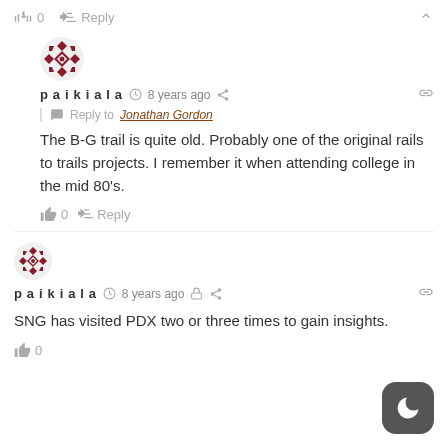👍 0  ➜ Reply  ^
[Figure (illustration): User avatar: decorative diamond/quilt pattern in dark red and white]
paikiala  🕐 8 years ago  🔗  Reply to Jonathan Gordon
The B-G trail is quite old. Probably one of the original rails to trails projects. I remember it when attending college in the mid 80's.
👍 0  ➜ Reply
[Figure (illustration): User avatar: decorative diamond/quilt pattern in dark red and white]
paikiala  🕐 8 years ago  🔒  🔗
SNG has visited PDX two or three times to gain insights.
👍 0